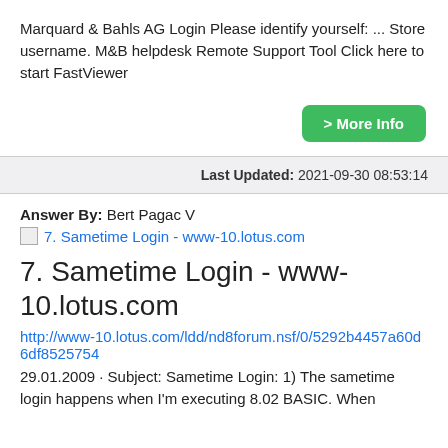Marquard & Bahls AG Login Please identify yourself: ... Store username. M&B helpdesk Remote Support Tool Click here to start FastViewer
> More Info
Last Updated: 2021-09-30 08:53:14
Answer By: Bert Pagac V
7. Sametime Login - www-10.lotus.com
7. Sametime Login - www-10.lotus.com
http://www-10.lotus.com/ldd/nd8forum.nsf/0/5292b4457a60d6df85257s4
29.01.2009 · Subject: Sametime Login: 1) The sametime login happens when I'm executing 8.02 BASIC. When